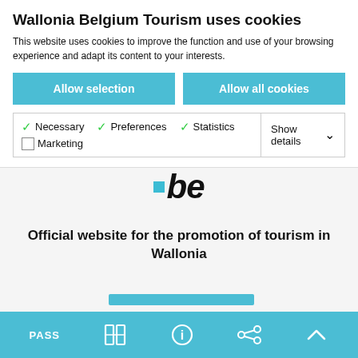Wallonia Belgium Tourism uses cookies
This website uses cookies to improve the function and use of your browsing experience and adapt its content to your interests.
Allow selection
Allow all cookies
Necessary  Preferences  Statistics  Marketing  Show details
[Figure (logo): .be logo with blue dot and bold italic text]
Official website for the promotion of tourism in Wallonia
PASS [book icon] [info icon] [share icon] [up icon]